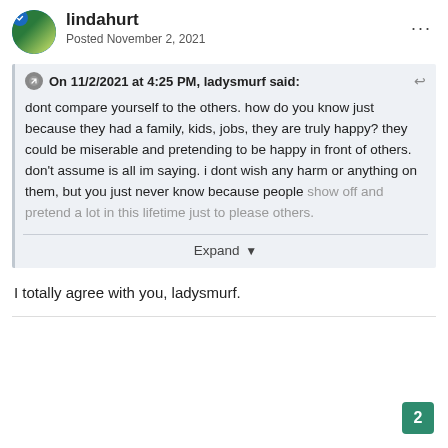lindahurt
Posted November 2, 2021
On 11/2/2021 at 4:25 PM, ladysmurf said:

dont compare yourself to the others. how do you know just because they had a family, kids, jobs, they are truly happy? they could be miserable and pretending to be happy in front of others. don't assume is all im saying. i dont wish any harm or anything on them, but you just never know because people show off and pretend a lot in this lifetime just to please others.

Expand
I totally agree with you, ladysmurf.